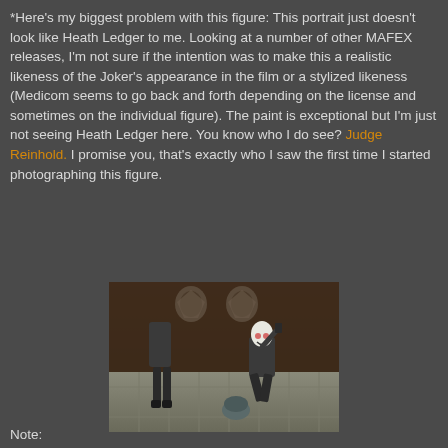*Here's my biggest problem with this figure: This portrait just doesn't look like Heath Ledger to me. Looking at a number of other MAFEX releases, I'm not sure if the intention was to make this a realistic likeness of the Joker's appearance in the film or a stylized likeness (Medicom seems to go back and forth depending on the license and sometimes on the individual figure). The paint is exceptional but I'm just not seeing Heath Ledger here. You know who I do see? Judge Reinhold. I promise you, that's exactly who I saw the first time I started photographing this figure.
[Figure (photo): A photo of two action figures posed on stone-tile base in front of a dark wooden backdrop with decorative shields. The left figure stands wearing dark pants; the right figure wears a clown mask and jacket and holds a gun, crouching near a bag.]
Note: